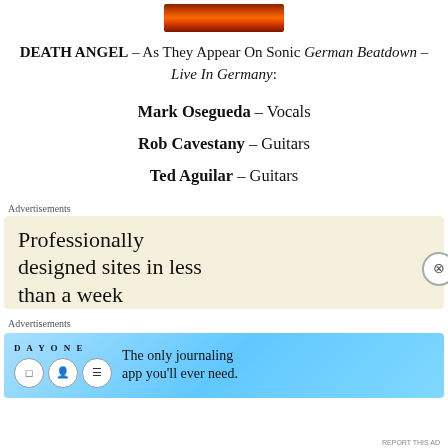[Figure (photo): Album cover image with fiery red/orange tones]
DEATH ANGEL – As They Appear On Sonic German Beatdown – Live In Germany:
Mark Osegueda – Vocals
Rob Cavestany – Guitars
Ted Aguilar – Guitars
Advertisements
[Figure (screenshot): Advertisement: Professionally designed sites in less than a week]
Advertisements
[Figure (screenshot): Advertisement: DAY ONE - The only journaling app you'll ever need.]